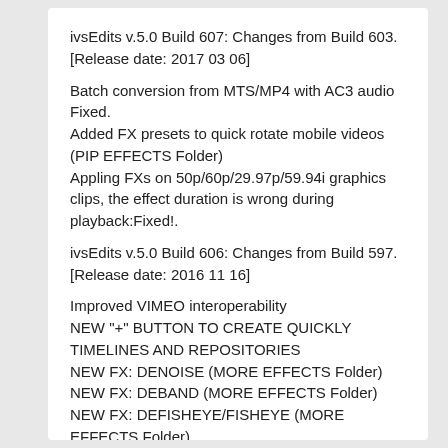ivsEdits v.5.0 Build 607: Changes from Build 603. [Release date: 2017 03 06]
Batch conversion from MTS/MP4 with AC3 audio Fixed.
Added FX presets to quick rotate mobile videos (PIP EFFECTS Folder)
Appling FXs on 50p/60p/29.97p/59.94i graphics clips, the effect duration is wrong during playback:Fixed!.
ivsEdits v.5.0 Build 606: Changes from Build 597. [Release date: 2016 11 16]
Improved VIMEO interoperability
NEW "+" BUTTON TO CREATE QUICKLY TIMELINES AND REPOSITORIES
NEW FX: DENOISE (MORE EFFECTS Folder)
NEW FX: DEBAND (MORE EFFECTS Folder)
NEW FX: DEFISHEYE/FISHEYE (MORE EFFECTS Folder)
NEW FX: 33 LOOKS With INSTAGRAM/FILMLOOK LIKE PRESETS (LOOK)
NEW FX: There are 17 new effects OpenGL